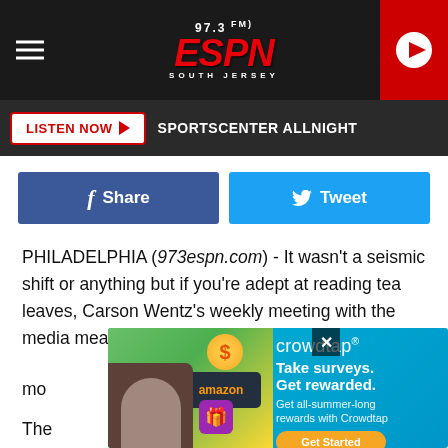97.3 FM ESPN South Jersey
LISTEN NOW ▶  SPORTSCENTER ALLNIGHT
Share   Tweet
PHILADELPHIA (973espn.com) - It wasn't a seismic shift or anything but if you're adept at reading tea leaves, Carson Wentz's weekly meeting with the media meant a little more
The [article text continues]... early... mic... about Nick...
[Figure (screenshot): Crowdtap advertisement: Take surveys. Get rewarded. Get all-summer-long rewards with Crowdtap. Get Started button. Amazon gift card and person images shown.]